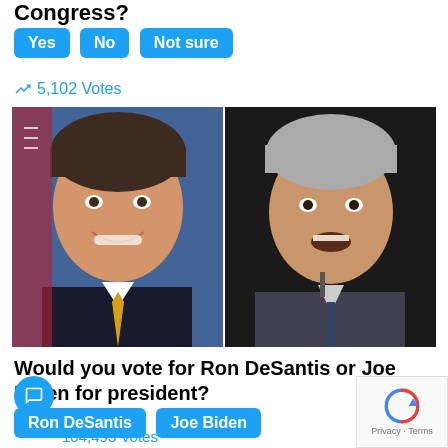Congress?
Yes  No  Not sure
5,102 Votes
[Figure (photo): Two side-by-side headshots: Ron DeSantis smiling in front of American flag (left), Joe Biden speaking (right)]
Would you vote for Ron DeSantis or Joe Biden for president?
Ron DeSantis  Joe Biden
104,493 Votes